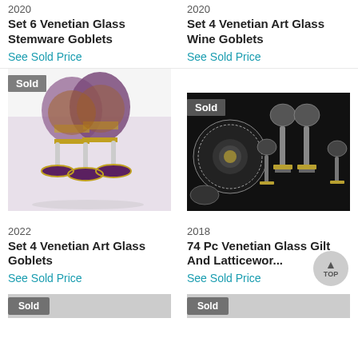2020
Set 6 Venetian Glass Stemware Goblets
See Sold Price
2020
Set 4 Venetian Art Glass Wine Goblets
See Sold Price
[Figure (photo): Photo of 4 purple/amethyst Venetian glass stemware goblets with gold detailing, labeled Sold]
[Figure (photo): Photo of Venetian glass set including plates, bowls and stemware on dark background, labeled Sold]
2022
Set 4 Venetian Art Glass Goblets
See Sold Price
2018
74 Pc Venetian Glass Gilt And Latticewor...
See Sold Price
[Figure (photo): Partial photo at bottom left, labeled Sold]
[Figure (photo): Partial photo at bottom right, labeled Sold]